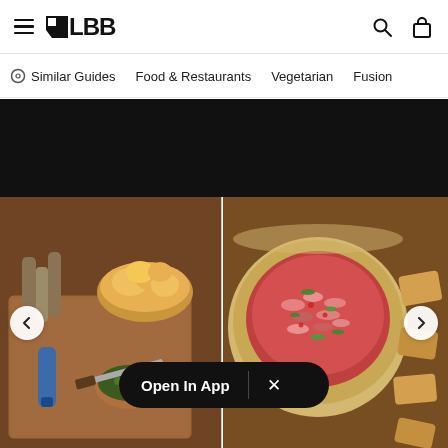LBB header with hamburger menu, LBB logo, search icon, and bag icon
Similar Guides
Food & Restaurants
Vegetarian
Fusion
[Figure (photo): Black banner area above food photos]
[Figure (photo): Split food photo: left side shows pani puri in bowl with corks and small bowl of green peas on wooden tray; right side shows a creamy dip/spread in a ceramic bowl with chopped onions and herbs served with toasted bread pieces]
Open In App